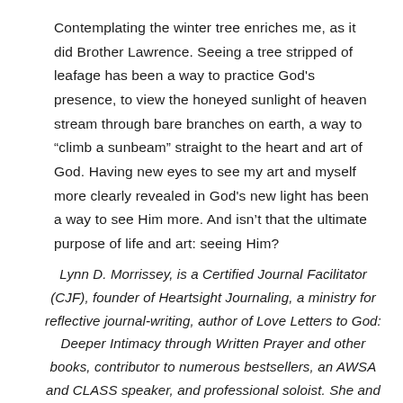Contemplating the winter tree enriches me, as it did Brother Lawrence. Seeing a tree stripped of leafage has been a way to practice God's presence, to view the honeyed sunlight of heaven stream through bare branches on earth, a way to “climb a sunbeam” straight to the heart and art of God. Having new eyes to see my art and myself more clearly revealed in God's new light has been a way to see Him more. And isn’t that the ultimate purpose of life and art: seeing Him?
Lynn D. Morrissey, is a Certified Journal Facilitator (CJF), founder of Heartsight Journaling, a ministry for reflective journal-writing, author of Love Letters to God: Deeper Intimacy through Written Prayer and other books, contributor to numerous bestsellers, an AWSA and CLASS speaker, and professional soloist. She and her beloved husband, Michael, have been married since 1975 and